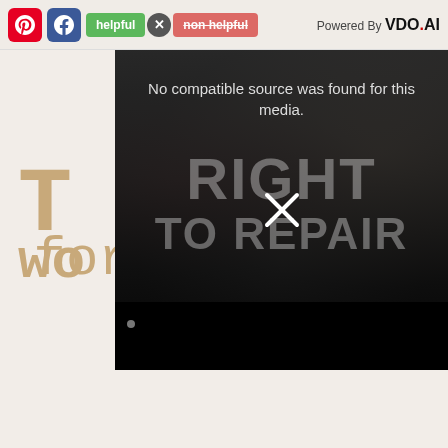[Figure (screenshot): Toolbar with Pinterest button (red), Facebook button (blue), green 'helpful' button, close X button, strikethrough 'non helpful' button in red, and 'Powered By VDO.AI' text on the right]
[Figure (screenshot): Video player overlay showing 'No compatible source was found for this media.' error message over dark background with 'RIGHT TO REPAIR' text watermark and an X close symbol. Black bar at bottom.]
for so long.
LiveLifeHappy.com